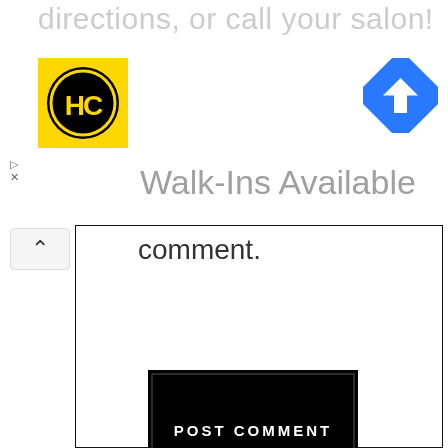directions, or call your salon!
[Figure (logo): HC logo - yellow square with black circle containing HC letters]
[Figure (other): Blue diamond navigation arrow icon]
Walk-Ins Available
comment.
[Figure (screenshot): POST COMMENT button - black rectangle with white uppercase text]